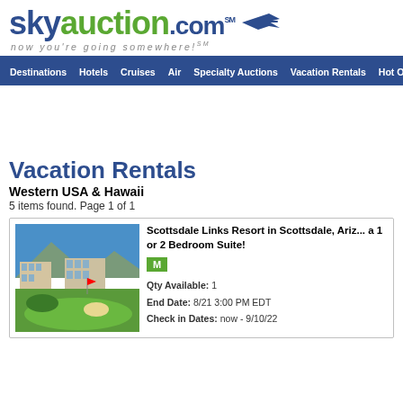[Figure (logo): skyauction.com logo with airplane graphic and tagline 'now you're going somewhere!']
Destinations  Hotels  Cruises  Air  Specialty Auctions  Vacation Rentals  Hot Offers
Vacation Rentals
Western USA & Hawaii
5 items found. Page 1 of 1
[Figure (photo): Photo of Scottsdale Links Resort showing a golf course with resort buildings in background and mountains]
Scottsdale Links Resort in Scottsdale, Ariz... a 1 or 2 Bedroom Suite!
Qty Available: 1
End Date: 8/21 3:00 PM EDT
Check in Dates: now - 9/10/22